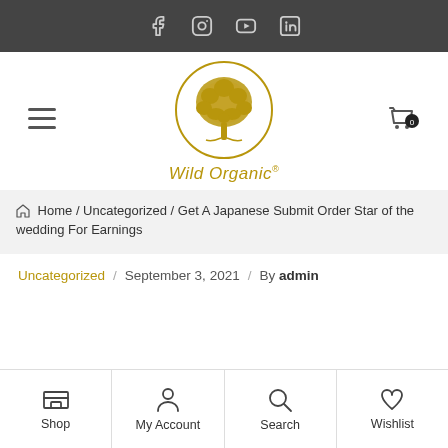Social media icons: Facebook, Instagram, YouTube, LinkedIn
[Figure (logo): Wild Organic logo with golden tree inside circle and brand name 'Wild Organic®' in italic gold font below]
Home / Uncategorized / Get A Japanese Submit Order Star of the wedding For Earnings
Uncategorized / September 3, 2021 / By admin
Shop | My Account | Search | Wishlist